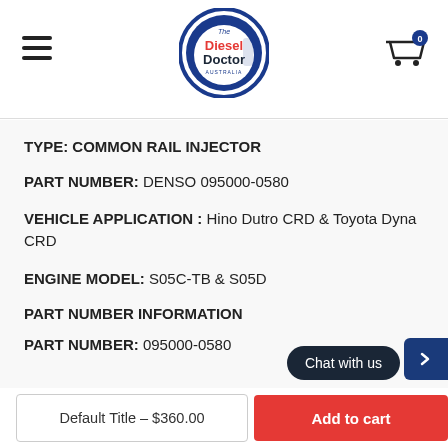Diesel Doctor Australia - navigation header with logo, hamburger menu, and cart icon
TYPE: COMMON RAIL INJECTOR
PART NUMBER: DENSO 095000-0580
VEHICLE APPLICATION: Hino Dutro CRD & Toyota Dyna CRD
ENGINE MODEL: S05C-TB & S05D
PART NUMBER INFORMATION
PART NUMBER: 095000-0580
Default Title – $360.00
Add to cart
Chat with us